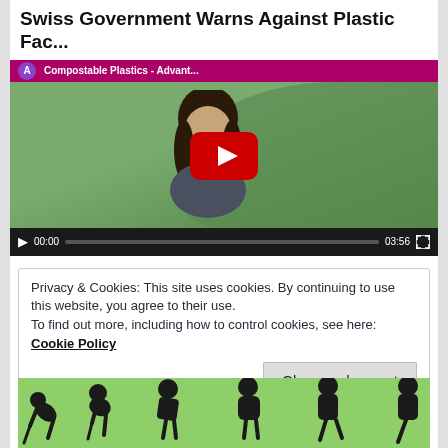Swiss Government Warns Against Plastic Fac...
[Figure (screenshot): YouTube video player showing a man with long dark hair speaking outdoors, with trees in the background. A pink top bar reads 'Compostable Plastics - Advant...' with a purple avatar. Video controls show 00:00 timestamp, progress bar, 03:56 duration, and fullscreen button.]
Privacy & Cookies: This site uses cookies. By continuing to use this website, you agree to their use.
To find out more, including how to control cookies, see here: Cookie Policy
Close and accept
[Figure (illustration): Evolution of man silhouette illustration on green background showing progression from hunched ape to upright human walking, with partial figures visible at right edge.]